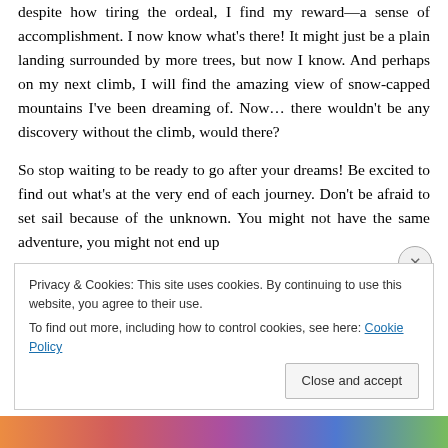despite how tiring the ordeal, I find my reward—a sense of accomplishment. I now know what's there! It might just be a plain landing surrounded by more trees, but now I know. And perhaps on my next climb, I will find the amazing view of snow-capped mountains I've been dreaming of. Now… there wouldn't be any discovery without the climb, would there?
So stop waiting to be ready to go after your dreams! Be excited to find out what's at the very end of each journey. Don't be afraid to set sail because of the unknown. You might not have the same adventure, you might not end up...
Privacy & Cookies: This site uses cookies. By continuing to use this website, you agree to their use.
To find out more, including how to control cookies, see here: Cookie Policy